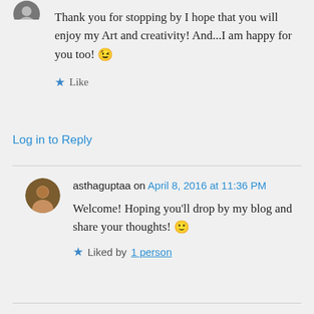[Figure (photo): Avatar icon of a user at top left, partially visible circle]
Thank you for stopping by I hope that you will enjoy my Art and creativity! And...I am happy for you too! 😉
★ Like
Log in to Reply
[Figure (photo): Circular avatar photo of asthaguptaa showing a person]
asthaguptaa on April 8, 2016 at 11:36 PM
Welcome! Hoping you'll drop by my blog and share your thoughts! 🙂
★ Liked by 1 person